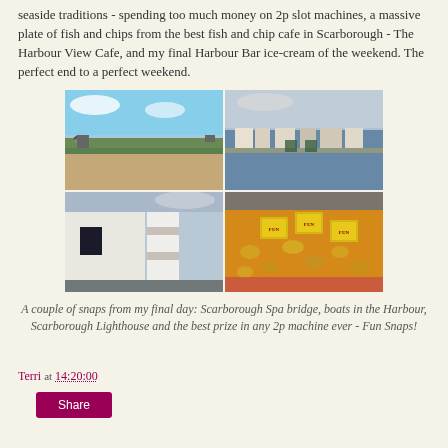seaside traditions - spending too much money on 2p slot machines, a massive plate of fish and chips from the best fish and chip cafe in Scarborough - The Harbour View Cafe, and my final Harbour Bar ice-cream of the weekend. The perfect end to a perfect weekend.
[Figure (photo): 2x2 grid of photos: top-left is Scarborough Spa bridge, top-right is boats in the Harbour, bottom-left is Scarborough Lighthouse, bottom-right is 2p slot machine tray with Fun Snaps prizes]
A couple of snaps from my final day: Scarborough Spa bridge, boats in the Harbour, Scarborough Lighthouse and the best prize in any 2p machine ever - Fun Snaps!
Terri at 14:20:00
Share